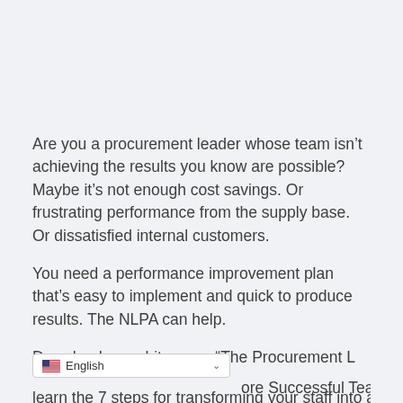Are you a procurement leader whose team isn’t achieving the results you know are possible? Maybe it’s not enough cost savings. Or frustrating performance from the supply base. Or dissatisfied internal customers.
You need a performance improvement plan that’s easy to implement and quick to produce results. The NLPA can help.
Download our whitepaper “The Procurement L…ore Successful Team.” You’ll learn the 7 steps for transforming your staff into a…